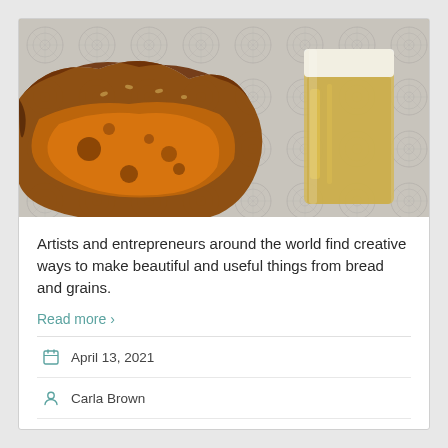[Figure (photo): Close-up photo of a piece of rustic bread with a glass of beer in the background, against a patterned grey wallpaper]
Artists and entrepreneurs around the world find creative ways to make beautiful and useful things from bread and grains.
Read more ›
April 13, 2021
Carla Brown
Podcast
food